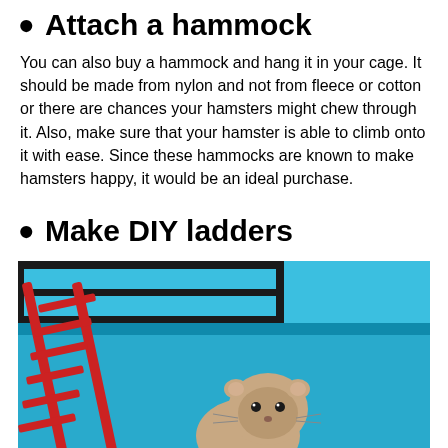• Attach a hammock
You can also buy a hammock and hang it in your cage. It should be made from nylon and not from fleece or cotton or there are chances your hamsters might chew through it. Also, make sure that your hamster is able to climb onto it with ease. Since these hammocks are known to make hamsters happy, it would be an ideal purchase.
• Make DIY ladders
[Figure (photo): A hamster inside a blue cage with a red DIY ladder leaning against the cage wall, and black metal cage bars visible at the top.]